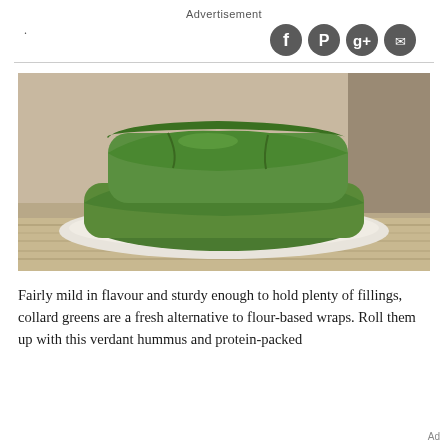Advertisement
[Figure (illustration): Social media sharing icons (Facebook, Pinterest, Google+, another social icon) displayed as dark grey circles, right-aligned, with a horizontal rule below and a small dot on the left side.]
[Figure (photo): A photograph of collard green wraps stuffed with vegetables including red peppers and other fillings, stacked on a white plate on a wooden surface.]
Fairly mild in flavour and sturdy enough to hold plenty of fillings, collard greens are a fresh alternative to flour-based wraps. Roll them up with this verdant hummus and protein-packed